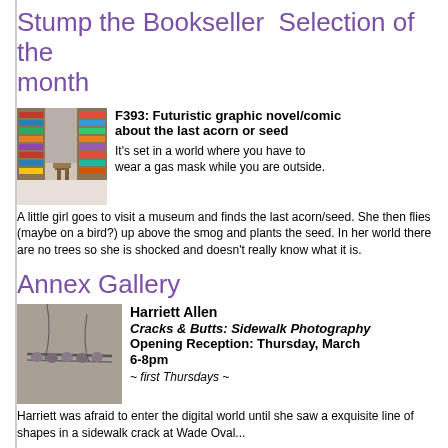Stump the Bookseller  Selection of the month
[Figure (photo): Interior of a bookstore showing shelves of books and a wooden chair in the aisle]
F393: Futuristic graphic novel/comic about the last acorn or seed
It's set in a world where you have to wear a gas mask while you are outside. A little girl goes to visit a museum and finds the last acorn/seed. She then flies (maybe on a bird?) up above the smog and plants the seed. In her world there are no trees so she is shocked and doesn't really know what it is.
Annex Gallery
[Figure (photo): Close-up photograph of sidewalk cracks with small round objects, sidewalk photography]
Harriett Allen
Cracks & Butts: Sidewalk Photography
Opening Reception: Thursday, March 6-8pm
~ first Thursdays ~
Harriett was afraid to enter the digital world until she saw a exquisite line of shapes in a sidewalk crack at Wade Oval...